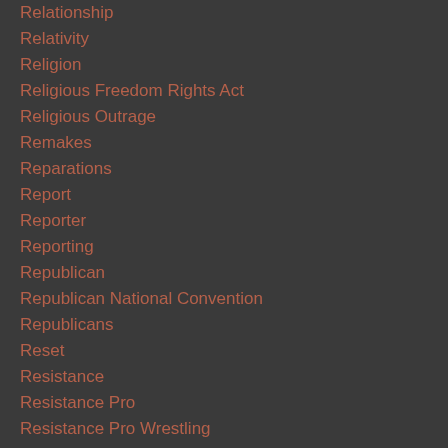Relationship
Relativity
Religion
Religious Freedom Rights Act
Religious Outrage
Remakes
Reparations
Report
Reporter
Reporting
Republican
Republican National Convention
Republicans
Reset
Resistance
Resistance Pro
Resistance Pro Wrestling
Restaurant
Retard
Retirement
Return